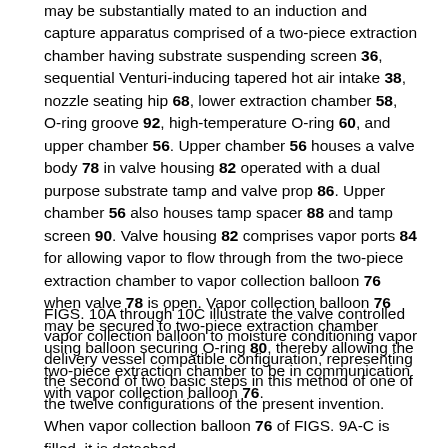may be substantially mated to an induction and capture apparatus comprised of a two-piece extraction chamber having substrate suspending screen 36, sequential Venturi-inducing tapered hot air intake 38, nozzle seating hip 68, lower extraction chamber 58, O-ring groove 92, high-temperature O-ring 60, and upper chamber 56. Upper chamber 56 houses a valve body 78 in valve housing 82 operated with a dual purpose substrate tamp and valve prop 86. Upper chamber 56 also houses tamp spacer 88 and tamp screen 90. Valve housing 82 comprises vapor ports 84 for allowing vapor to flow through from the two-piece extraction chamber to vapor collection balloon 76 when valve 78 is open. Vapor collection balloon 76 may be secured to two-piece extraction chamber using balloon securing O-ring 80, thereby allowing the two-piece extraction chamber to be in communication with vapor collection balloon 76.
FIGS. 10A through 10C illustrate the valve controlled vapor collection balloon to moisture conditioning vapor delivery vessel compatible configuration, representing the second of two basic steps in this method of one of the twelve configurations of the present invention. When vapor collection balloon 76 of FIGS. 9A-C is filled, it is detached